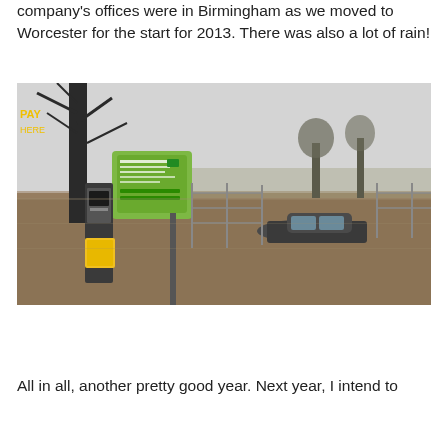company's offices were in Birmingham as we moved to Worcester for the start for 2013. There was also a lot of rain!
[Figure (photo): A flooded car park or street scene in Worcester showing a car partly submerged in murky brown flood water. A green parking information sign is visible on the left, along with a ticket machine. Bare winter trees are visible in the background against an overcast grey sky.]
All in all, another pretty good year. Next year, I intend to